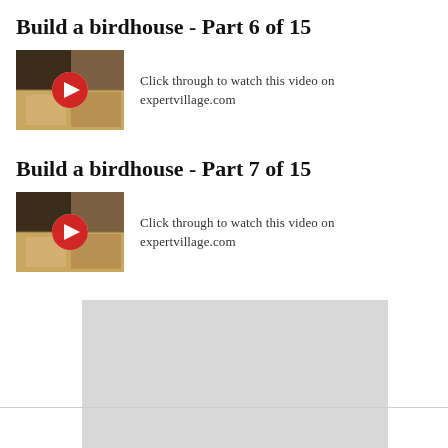Build a birdhouse - Part 6 of 15
[Figure (screenshot): Video thumbnail with play button for Build a birdhouse Part 6 of 15]
Click through to watch this video on expertvillage.com
Build a birdhouse - Part 7 of 15
[Figure (screenshot): Video thumbnail with play button for Build a birdhouse Part 7 of 15]
Click through to watch this video on expertvillage.com